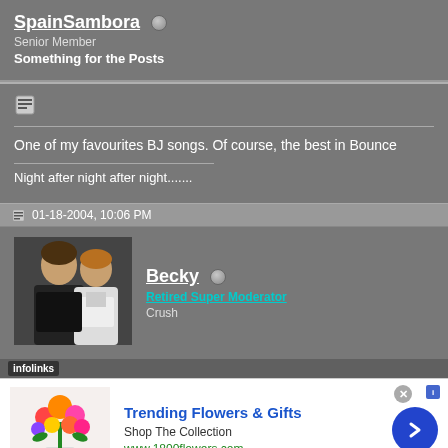SpainSambora
Senior Member
Something for the Posts
One of my favourites BJ songs. Of course, the best in Bounce
Night after night after night.......
01-18-2004, 10:06 PM
[Figure (photo): Avatar photo of two people, one likely Jon Bon Jovi]
Becky
Retired Super Moderator
Crush
[Figure (infographic): Advertisement for Trending Flowers & Gifts from 1800flowers.com with flower bouquet image]